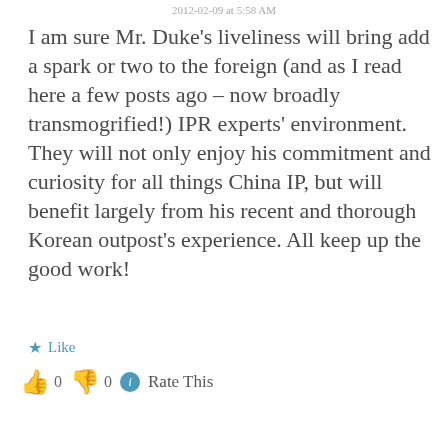2012-02-09 at 5:58 AM
I am sure Mr. Duke's liveliness will bring add a spark or two to the foreign (and as I read here a few posts ago – now broadly transmogrified!) IPR experts' environment. They will not only enjoy his commitment and curiosity for all things China IP, but will benefit largely from his recent and thorough Korean outpost's experience. All keep up the good work!
★ Like
👍 0 👎 0 ℹ Rate This
Reply